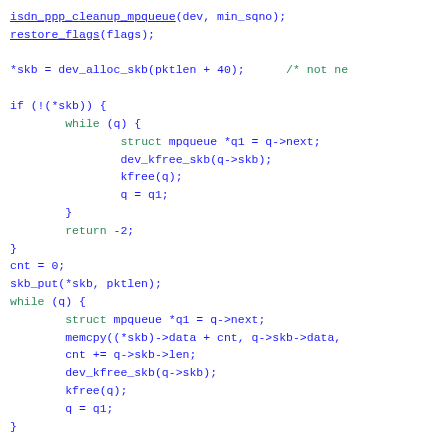[Figure (screenshot): Source code snippet in C showing ISDN PPP cleanup function with blue and green monospace text on white background. Contains function calls, while loops, struct declarations, memcpy, and return statements.]